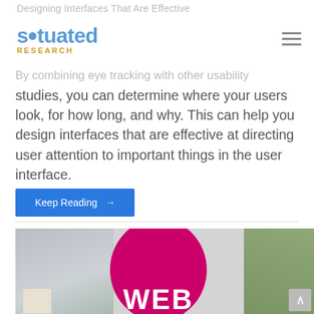Designing Interfaces That Are Effective
[Figure (logo): Situated Research logo with blue circle icon and gold RESEARCH text]
By combining eye tracking with other usability studies, you can determine where your users look, for how long, and why. This can help you design interfaces that are effective at directing user attention to important things in the user interface.
Keep Reading →
[Figure (photo): Hands around a table with a pink circle showing WEB text, representing web design collaboration]